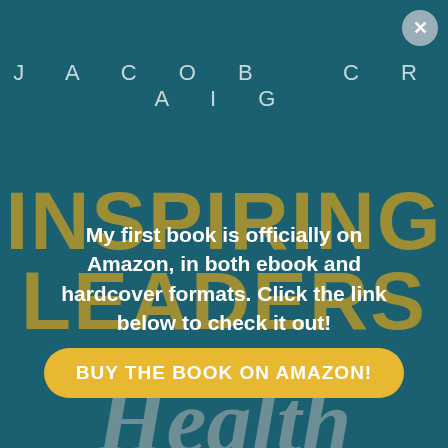[Figure (illustration): Book cover for 'Inspiring Leaders in Health' by Jacob Craig, teal/dark blue background with gold bold title text and gray subtitle text, silhouette figure in background]
My first book is officially on Amazon, in both ebook and hardcover formats. Click the link below to check it out!
BUY THE BOOK ON AMAZON!